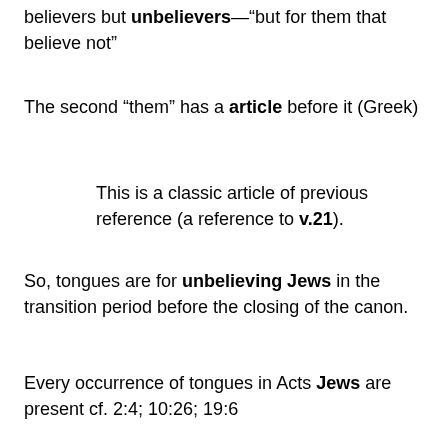believers but unbelievers—“but for them that believe not”
The second “them” has a article before it (Greek)
This is a classic article of previous reference (a reference to v.21).
So, tongues are for unbelieving Jews in the transition period before the closing of the canon.
Every occurrence of tongues in Acts Jews are present cf. 2:4; 10:26; 19:6
Reception of the Holy Spirit in Acts – no two accounts are the same: